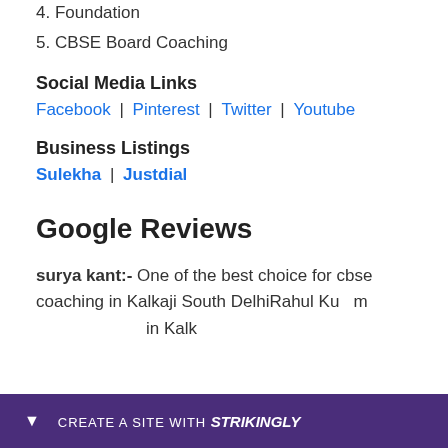4. Foundation
5. CBSE Board Coaching
Social Media Links
Facebook | Pinterest | Twitter | Youtube
Business Listings
Sulekha | Justdial
Google Reviews
surya kant:- One of the best choice for cbse coaching in Kalkaji South DelhiRahul Kumar... coaching in Kalkaji...
[Figure (other): Strikingly website builder promotional bar at the bottom of the page with text CREATE A SITE WITH strikingly]